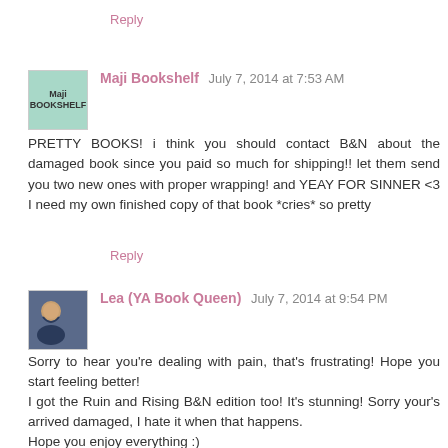Reply
Maji Bookshelf  July 7, 2014 at 7:53 AM
PRETTY BOOKS! i think you should contact B&N about the damaged book since you paid so much for shipping!! let them send you two new ones with proper wrapping! and YEAY FOR SINNER <3 I need my own finished copy of that book *cries* so pretty
Reply
Lea (YA Book Queen)  July 7, 2014 at 9:54 PM
Sorry to hear you're dealing with pain, that's frustrating! Hope you start feeling better!
I got the Ruin and Rising B&N edition too! It's stunning! Sorry your's arrived damaged, I hate it when that happens.
Hope you enjoy everything :)